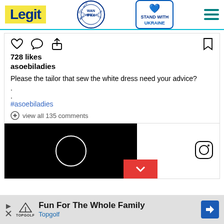Legit | WAN-IFRA 2021 Best News Website in Africa | Stand With Ukraine
[Figure (screenshot): Instagram post icons: heart (like), comment bubble, share arrow, bookmark]
728 likes
asoebiladies
Please the tailor that sew the white dress need your advice?
.
.
#asoebiladies
view all 135 comments
[Figure (screenshot): Video player with black background, white loading circle, red chevron down button, Instagram icon]
Fun For The Whole Family Topgolf